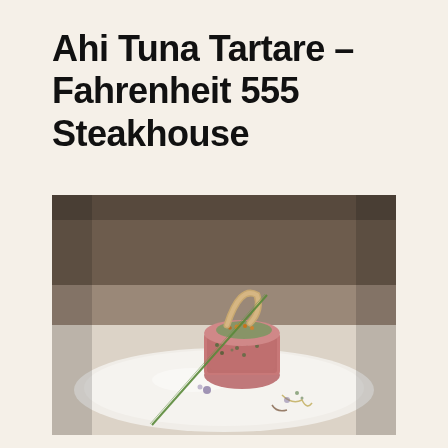Ahi Tuna Tartare – Fahrenheit 555 Steakhouse
[Figure (photo): Close-up food photography of an Ahi Tuna Tartare dish served on a white plate, with the tuna formed into a cylindrical tower garnished with herbs, microgreens, orange roe, and a curved crispy cracker on top, with a long chive draped beside it.]